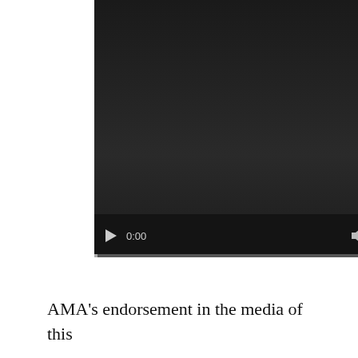[Figure (screenshot): A video player with a dark/black background showing a paused video at timestamp 0:00. The player has a control bar at the bottom with a play button, time display showing '0:00', a volume icon, and a fullscreen icon. Below the controls is a progress bar.]
AMA's endorsement in the media of this